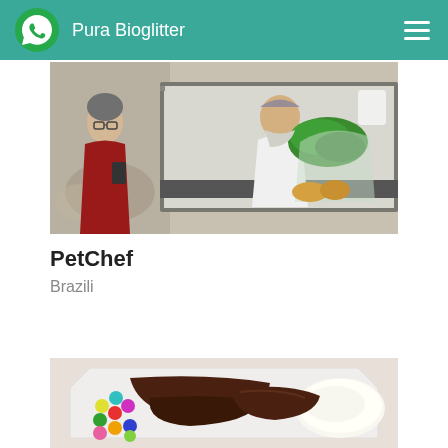Pura Bioglitter
[Figure (photo): A woman in a red shirt holding a phone stands in front of a window/counter where a man in white uniform and hairnet handles green vegetables and produce]
PetChef
Brazili
[Figure (photo): A box containing chocolates, colorful candy-coated items, and a white dessert item viewed from above]